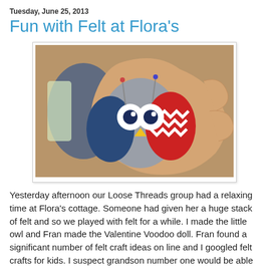Tuesday, June 25, 2013
Fun with Felt at Flora's
[Figure (photo): A hand holding a small felt owl craft made from grey, blue, red and white felt pieces with large round white eyes and a yellow beak.]
Yesterday afternoon our Loose Threads group had a relaxing time at Flora's cottage. Someone had given her a huge stack of felt and so we played with felt for a while. I made the little owl and Fran made the Valentine Voodoo doll. Fran found a significant number of felt craft ideas on line and I googled felt crafts for kids. I suspect grandson number one would be able to do simple stitches. He has made me promise to show him how to use my sewing machine this summer. He is coming for a week in July so I think I know what we will be doing some of the time.
We had a potluck supper. Flora told us ahead of time she was making a pot of chili. We really did have pot luck. Two